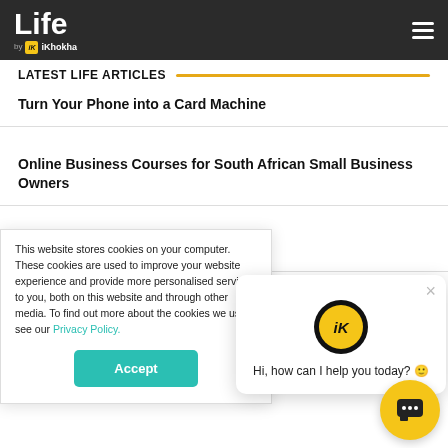Life by iKhokha
LATEST LIFE ARTICLES
Turn Your Phone into a Card Machine
Online Business Courses for South African Small Business Owners
Sun, Sea and Smiles with Hallo Coffee
8 Steps to Building a Website for Your Small Business
This website stores cookies on your computer. These cookies are used to improve your website experience and provide more personalised services to you, both on this website and through other media. To find out more about the cookies we use, see our Privacy Policy.
Accept
Hi, how can I help you today? 😊